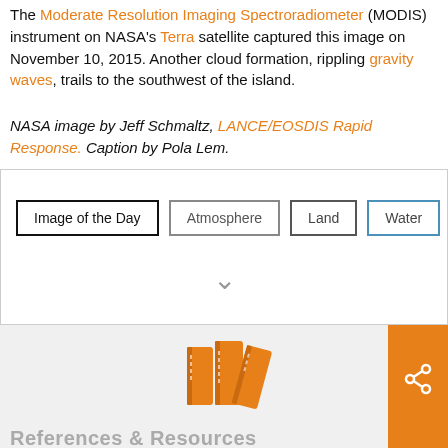The Moderate Resolution Imaging Spectroradiometer (MODIS) instrument on NASA's Terra satellite captured this image on November 10, 2015. Another cloud formation, rippling gravity waves, trails to the southwest of the island.
NASA image by Jeff Schmaltz, LANCE/EOSDIS Rapid Response. Caption by Pola Lem.
[Figure (other): Tag buttons: Image of the Day, Atmosphere, Land, Water with a chevron/arrow down icon below]
[Figure (illustration): Orange book/library icon representing References & Resources section]
References & Resources
Earth System Research Laboratory. (2002) Surface and Planetary Boundary Layer Processes.